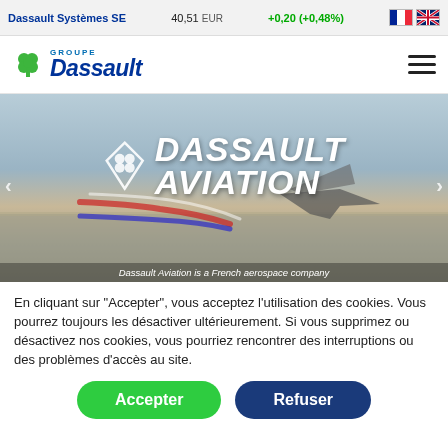Dassault Systèmes SE   40,51 EUR   +0,20 (+0,48%)
[Figure (logo): Groupe Dassault logo with green clover icon and blue italic DASSAULT wordmark]
[Figure (photo): Hero image of Dassault Aviation jet with colorful smoke trails on runway, overlaid with DASSAULT AVIATION logo in white italic text. Caption: Dassault Aviation is a French aerospace company]
En cliquant sur "Accepter", vous acceptez l'utilisation des cookies. Vous pourrez toujours les désactiver ultérieurement. Si vous supprimez ou désactivez nos cookies, vous pourriez rencontrer des interruptions ou des problèmes d'accès au site.
Accepter
Refuser